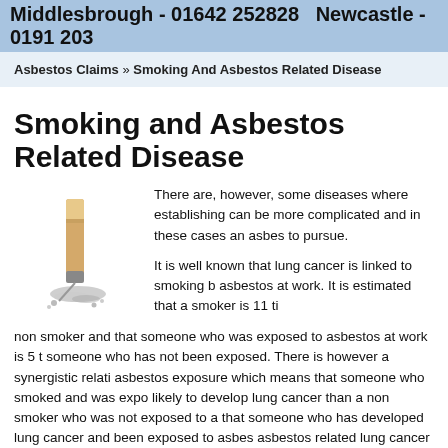Middlesbrough - 01642 252828   Newcastle - 0191 203
Asbestos Claims » Smoking And Asbestos Related Disease
Smoking and Asbestos Related Disease
[Figure (photo): A cigarette butt pressed into ash on a surface]
There are, however, some diseases where establishing can be more complicated and in these cases an asbes to pursue.

It is well known that lung cancer is linked to smoking b asbestos at work. It is estimated that a smoker is 11 ti non smoker and that someone who was exposed to asbestos at work is 5 t someone who has not been exposed. There is however a synergistic relati asbestos exposure which means that someone who smoked and was expo likely to develop lung cancer than a non smoker who was not exposed to a that someone who has developed lung cancer and been exposed to asbes asbestos related lung cancer cl im can be pursue. Greet beside the t